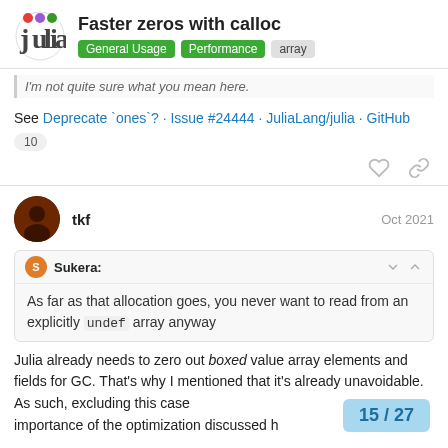Faster zeros with calloc — General Usage · Performance · array
I'm not quite sure what you mean here.
See Deprecate `ones`? · Issue #24444 · JuliaLang/julia · GitHub
10
tkf — Oct 2021
Sukera: As far as that allocation goes, you never want to read from an explicitly undef array anyway
Julia already needs to zero out boxed value array elements and fields for GC. That's why I mentioned that it's already unavoidable. As such, excluding this case importance of the optimization discussed h